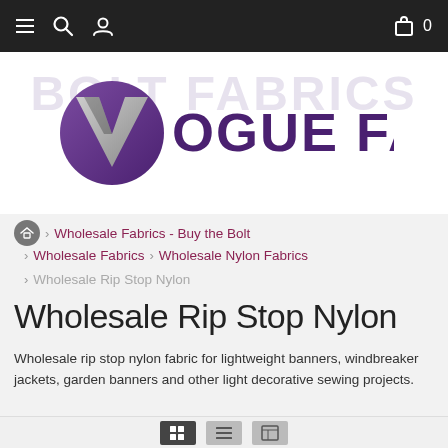[Figure (logo): Vogue Fabrics logo with purple circular V icon and bold text 'VOGUE FABRICS']
› Wholesale Fabrics - Buy the Bolt
› Wholesale Fabrics › Wholesale Nylon Fabrics
› Wholesale Rip Stop Nylon
Wholesale Rip Stop Nylon
Wholesale rip stop nylon fabric for lightweight banners, windbreaker jackets, garden banners and other light decorative sewing projects.